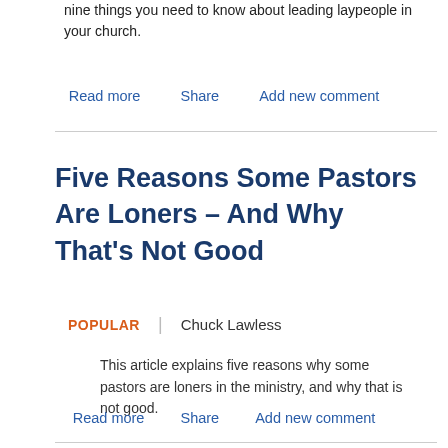nine things you need to know about leading laypeople in your church.
Read more   Share   Add new comment
Five Reasons Some Pastors Are Loners – And Why That's Not Good
POPULAR  |  Chuck Lawless
This article explains five reasons why some pastors are loners in the ministry, and why that is not good.
Read more   Share   Add new comment
Making a Pastoral Apology